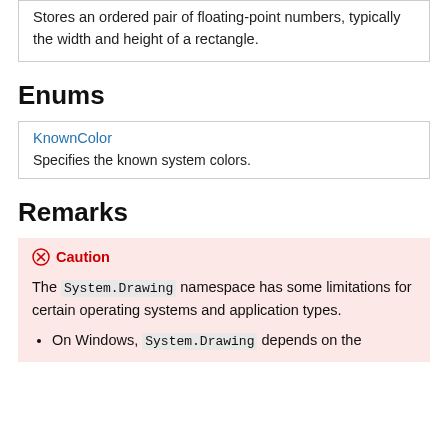Stores an ordered pair of floating-point numbers, typically the width and height of a rectangle.
Enums
| Name | Description |
| --- | --- |
| KnownColor | Specifies the known system colors. |
Remarks
Caution
The System.Drawing namespace has some limitations for certain operating systems and application types.
• On Windows, System.Drawing depends on the